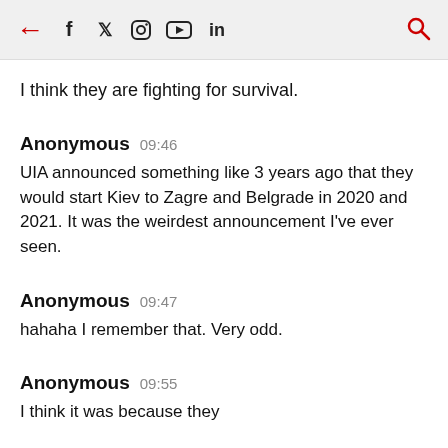← f 𝕏 Instagram YouTube in 🔍
I think they are fighting for survival.
Anonymous 09:46
UIA announced something like 3 years ago that they would start Kiev to Zagre and Belgrade in 2020 and 2021. It was the weirdest announcement I've ever seen.
Anonymous 09:47
hahaha I remember that. Very odd.
Anonymous 09:55
I think it was because they...